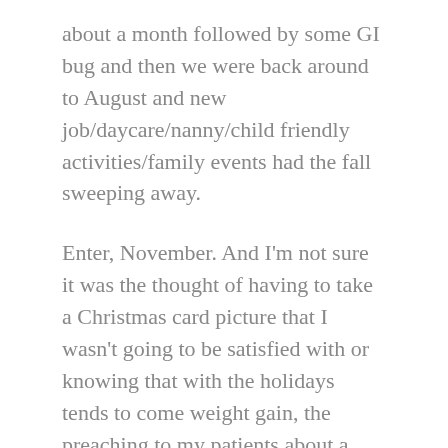about a month followed by some GI bug and then we were back around to August and new job/daycare/nanny/child friendly activities/family events had the fall sweeping away.
Enter, November. And I'm not sure it was the thought of having to take a Christmas card picture that I wasn't going to be satisfied with or knowing that with the holidays tends to come weight gain, the preaching to my patients about a healthy lifestyle or the fact that my body at 35 hurt, but I strapped back on my old running shoes and said “all I have to do is walk”. And I did.
And then I got the itch to jog. I spent several weeks walking to one song and the jogging to the next song and then walking the next song and so on and